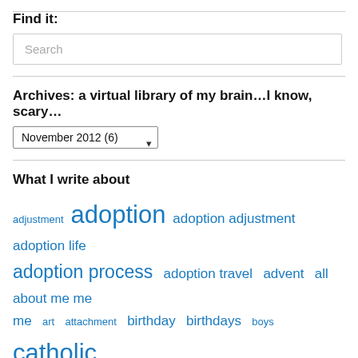Find it:
Search
Archives: a virtual library of my brain…I know, scary…
November 2012  (6)
What I write about
adjustment adoption adoption adjustment adoption life adoption process adoption travel advent all about me me me art attachment birthday birthdays boys catholic catholic life charity chris christmas Dominicans